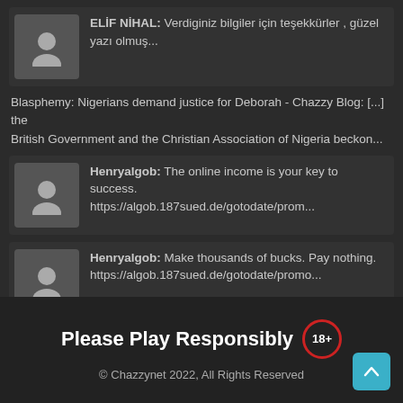ELİF NİHAL: Verdiginiz bilgiler için teşekkürler , güzel yazı olmuş...
Blasphemy: Nigerians demand justice for Deborah - Chazzy Blog: [...] the British Government and the Christian Association of Nigeria beckon...
Henryalgob: The online income is your key to success. https://algob.187sued.de/gotodate/prom...
Henryalgob: Make thousands of bucks. Pay nothing. https://algob.187sued.de/gotodate/promo...
ucretsiz: This is very interesting, You are a very skilled blogger. Veronika Thaine McNall...
Please Play Responsibly 18+
© Chazzynet 2022, All Rights Reserved